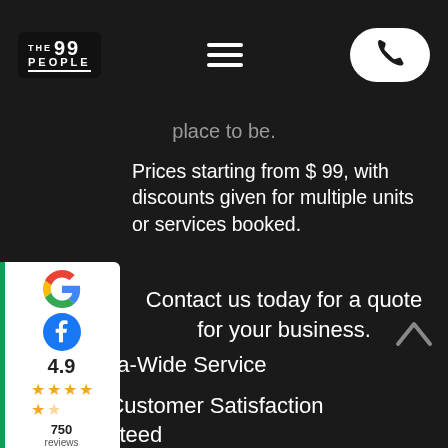[Figure (logo): The 99 People logo in white on dark background, with hamburger menu and phone call button]
place to be.
Prices starting from $ 99, with discounts given for multiple units or services booked.
[Figure (infographic): Google and Facebook review widget showing 4.9 stars from 750 reviews]
Contact us today for a quote for your business.
Australia-Wide Service
100% Customer Satisfaction Guaranteed